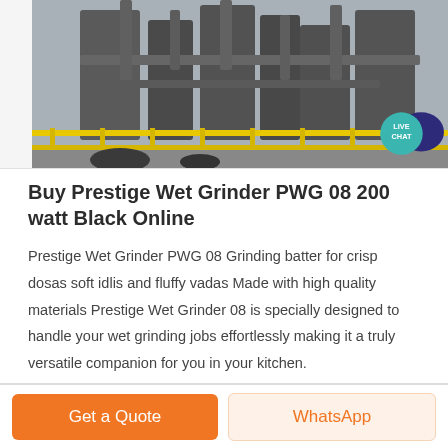[Figure (photo): Industrial facility/plant equipment with pipes, tanks, and yellow railing visible. Partial view of industrial machinery.]
Buy Prestige Wet Grinder PWG 08 200 watt Black Online
Prestige Wet Grinder PWG 08 Grinding batter for crisp dosas soft idlis and fluffy vadas Made with high quality materials Prestige Wet Grinder 08 is specially designed to handle your wet grinding jobs effortlessly making it a truly versatile companion for you in your kitchen.
Get a Quote
WhatsApp